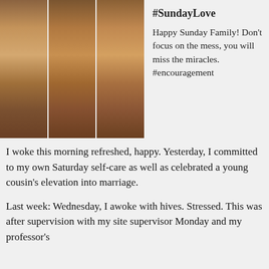[Figure (photo): Three-panel photo collage of a smiling woman with natural hair, shown in three slightly different poses/angles side by side]
#SundayLove
Happy Sunday Family! Don't focus on the mess, you will miss the miracles. #encouragement
I woke this morning refreshed, happy. Yesterday, I committed to my own Saturday self-care as well as celebrated a young cousin's elevation into marriage.
Last week: Wednesday, I awoke with hives. Stressed. This was after supervision with my site supervisor Monday and my professor's